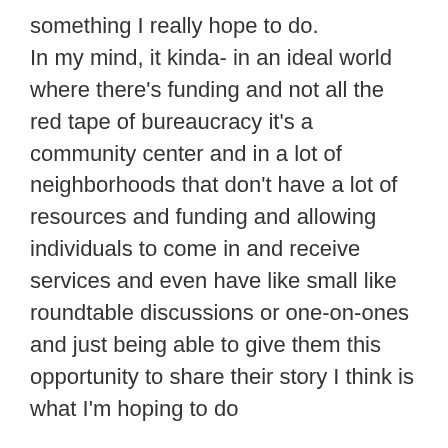something I really hope to do.
In my mind, it kinda- in an ideal world where there's funding and not all the red tape of bureaucracy it's a community center and in a lot of neighborhoods that don't have a lot of resources and funding and allowing individuals to come in and receive services and even have like small like roundtable discussions or one-on-ones and just being able to give them this opportunity to share their story I think is what I'm hoping to do
RICK: That's totally awesome. This access to information and community that we strive for, people, you know- sometimes it's just a matter of them not knowing what's out there and what is